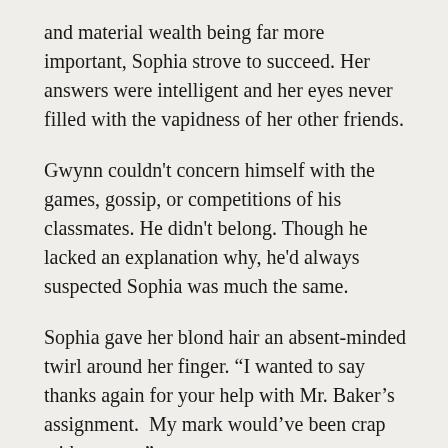and material wealth being far more important, Sophia strove to succeed. Her answers were intelligent and her eyes never filled with the vapidness of her other friends.
Gwynn couldn't concern himself with the games, gossip, or competitions of his classmates. He didn't belong. Though he lacked an explanation why, he'd always suspected Sophia was much the same.
Sophia gave her blond hair an absent-minded twirl around her finger. “I wanted to say thanks again for your help with Mr. Baker’s assignment.  My mark would’ve been crap without you.”
Gwynn’s heart pounded in the back of his throat. He regretted the speed he had fired down the cafeteria’s lukewarm dollar store pizza.